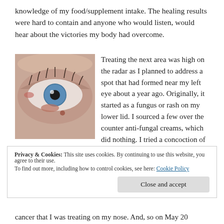knowledge of my food/supplement intake. The healing results were hard to contain and anyone who would listen, would hear about the victories my body had overcome.
[Figure (photo): Close-up photograph of a person's left eye showing a spot or lesion on the lower eyelid area, with blue iris visible.]
Treating the next area was high on the radar as I planned to address a spot that had formed near my left eye about a year ago. Originally, it started as a fungus or rash on my lower lid. I sourced a few over the counter anti-fungal creams, which did nothing. I tried a concoction of essential oils including
Privacy & Cookies: This site uses cookies. By continuing to use this website, you agree to their use.
To find out more, including how to control cookies, see here: Cookie Policy
cancer that I was treating on my nose. And, so on May 20